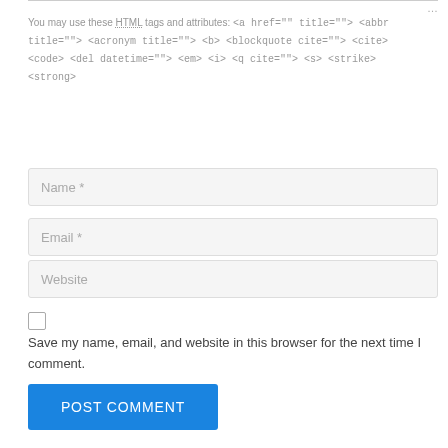You may use these HTML tags and attributes: <a href="" title=""> <abbr title=""> <acronym title=""> <b> <blockquote cite=""> <cite> <code> <del datetime=""> <em> <i> <q cite=""> <s> <strike> <strong>
[Figure (screenshot): Form field: Name *]
[Figure (screenshot): Form field: Email *]
[Figure (screenshot): Form field: Website]
Save my name, email, and website in this browser for the next time I comment.
[Figure (screenshot): POST COMMENT button in blue]